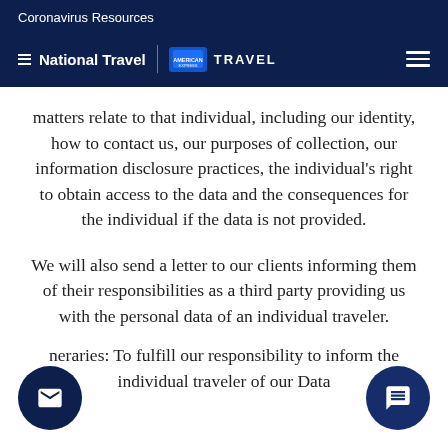Coronavirus Resources
[Figure (logo): National Travel | American Express TRAVEL logo with hamburger menu icon on dark navy background]
matters relate to that individual, including our identity, how to contact us, our purposes of collection, our information disclosure practices, the individual's right to obtain access to the data and the consequences for the individual if the data is not provided.
We will also send a letter to our clients informing them of their responsibilities as a third party providing us with the personal data of an individual traveler.
neraries: To fulfill our responsibility to inform the individual traveler of our Data